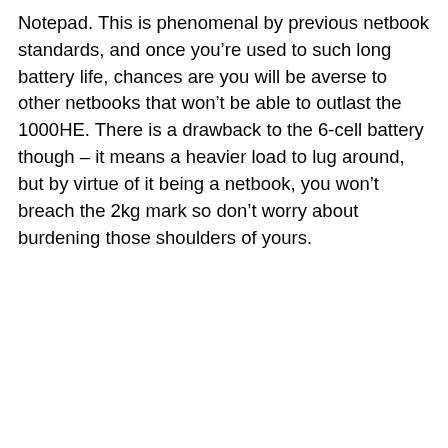Notepad. This is phenomenal by previous netbook standards, and once you're used to such long battery life, chances are you will be averse to other netbooks that won't be able to outlast the 1000HE. There is a drawback to the 6-cell battery though – it means a heavier load to lug around, but by virtue of it being a netbook, you won't breach the 2kg mark so don't worry about burdening those shoulders of yours.